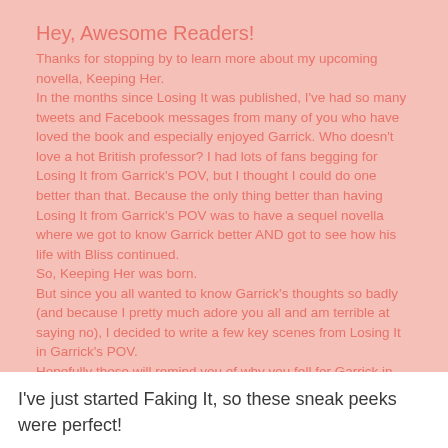Hey, Awesome Readers!
Thanks for stopping by to learn more about my upcoming novella, Keeping Her.
In the months since Losing It was published, I've had so many tweets and Facebook messages from many of you who have loved the book and especially enjoyed Garrick. Who doesn't love a hot British professor? I had lots of fans begging for Losing It from Garrick's POV, but I thought I could do one better than that. Because the only thing better than having Losing It from Garrick's POV was to have a sequel novella where we got to know Garrick better AND got to see how his life with Bliss continued.
So, Keeping Her was born.
But since you all wanted to know Garrick's thoughts so badly (and because I pretty much adore you all and am terrible at saying no), I decided to write a few key scenes from Losing It in Garrick's POV.
Hopefully these will remind you of why you fell for Garrick in the first place and get you all fired up to read the novella in August!
Enjoy!
Cora.
Check out those scenes here!
I've just started Faking It, so these sneak peeks were perfect!